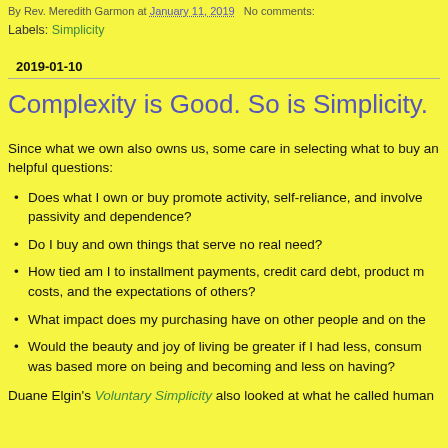By Rev. Meredith Garmon at January 11, 2019   No comments:
Labels: Simplicity
2019-01-10
Complexity is Good. So is Simplicity.
Since what we own also owns us, some care in selecting what to buy and helpful questions:
Does what I own or buy promote activity, self-reliance, and involvement, or does it promote passivity and dependence?
Do I buy and own things that serve no real need?
How tied am I to installment payments, credit card debt, product maintenance costs, and the expectations of others?
What impact does my purchasing have on other people and on the
Would the beauty and joy of living be greater if I had less, consume was based more on being and becoming and less on having?
Duane Elgin's Voluntary Simplicity also looked at what he called human